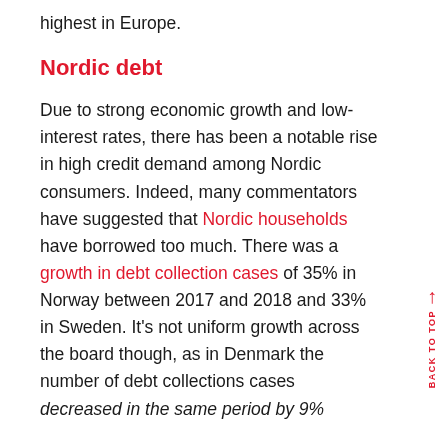highest in Europe.
Nordic debt
Due to strong economic growth and low-interest rates, there has been a notable rise in high credit demand among Nordic consumers. Indeed, many commentators have suggested that Nordic households have borrowed too much. There was a growth in debt collection cases of 35% in Norway between 2017 and 2018 and 33% in Sweden. It's not uniform growth across the board though, as in Denmark the number of debt collections cases decreased in the same period by 9%